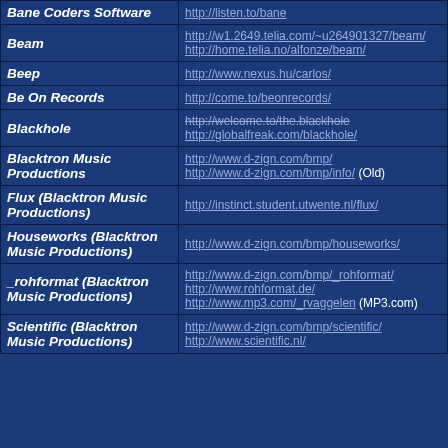| Name | URL |
| --- | --- |
| Bane Coders Software | http://listen.to/bane |
| Beam | http://w1.2649.telia.com/~u264901327/beam/
http://home.telia.no/alfonze/beam/ |
| Beep | http://www.nexus.hu/carlos/ |
| Be On Records | http://come.to/beonrecords/ |
| Blackhole | http://welcome.to/the.blackhole (strikethrough)
http://globalfreak.com/blackhole/ |
| Blacktron Music Productions | http://www.d-zign.com/bmp/
http://www.d-zign.com/bmp/info/ (Old) |
| Flux (Blacktron Music Productions) | http://instinct.student.utwente.nl/flux/ |
| Houseworks (Blacktron Music Productions) | http://www.d-zign.com/bmp/houseworks/ |
| _rohformat (Blacktron Music Productions) | http://www.d-zign.com/bmp/_rohformat/
http://www.rohformat.de/
http://www.mp3.com/_rvaggelen (MP3.com) |
| Scientific (Blacktron Music Productions) | http://www.d-zign.com/bmp/scientific/
http://www.scientific.nl/ |